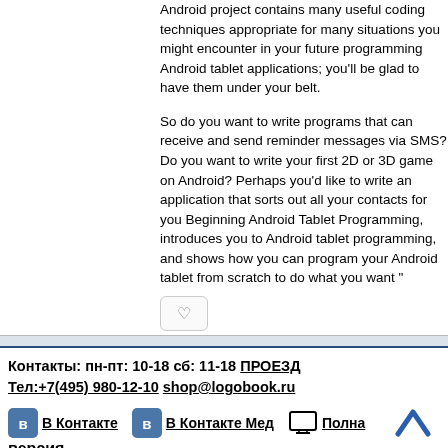Android project contains many useful coding techniques appropriate for many situations you might encounter in your future programming Android tablet applications; you'll be glad to have them under your belt.
So do you want to write programs that can receive and send reminder messages via SMS? Do you want to write your first 2D or 3D game on Android? Perhaps you'd like to write an application that sorts out all your contacts for you Beginning Android Tablet Programming, introduces you to Android tablet programming, and shows how you can program your Android tablet from scratch to do what you want "
Контакты: пн-пт: 10-18 сб: 11-18 ПРОЕЗД Тел:+7(495) 980-12-10 shop@logobook.ru
В Контакте   В Контакте Мед   Полная версия .